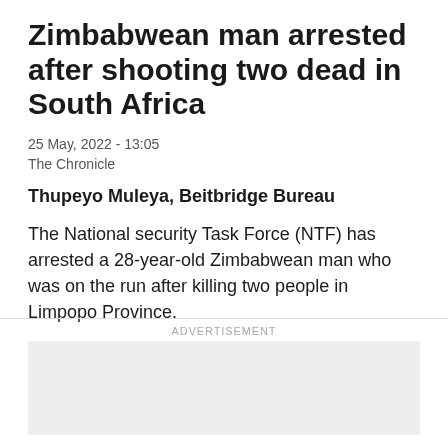Zimbabwean man arrested after shooting two dead in South Africa
25 May, 2022 - 13:05
The Chronicle
Thupeyo Muleya, Beitbridge Bureau
The National security Task Force (NTF) has arrested a 28-year-old Zimbabwean man who was on the run after killing two people in Limpopo Province.
ADVERTISEMENT